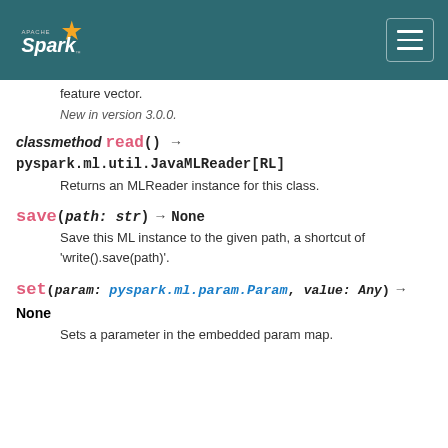Apache Spark
feature vector.
New in version 3.0.0.
classmethod read() → pyspark.ml.util.JavaMLReader[RL]
Returns an MLReader instance for this class.
save(path: str) → None
Save this ML instance to the given path, a shortcut of 'write().save(path)'.
set(param: pyspark.ml.param.Param, value: Any) → None
Sets a parameter in the embedded param map.